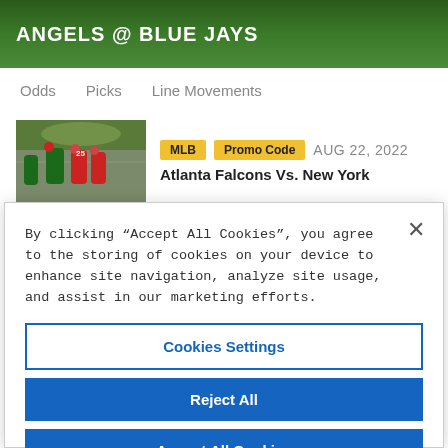ANGELS @ BLUE JAYS
Odds   Picks   Line Movements
[Figure (photo): Sports action photo of football players on field]
MLB   Promo Code   AUG 22, 2022
Atlanta Falcons Vs. New York
By clicking “Accept All Cookies”, you agree to the storing of cookies on your device to enhance site navigation, analyze site usage, and assist in our marketing efforts.
Cookies Settings
Reject All
Accept All Cookies